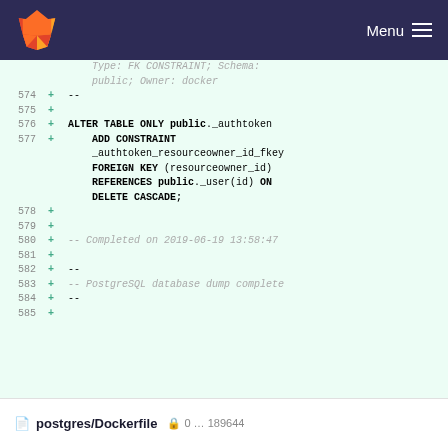Menu
[Figure (screenshot): GitLab navigation bar with orange/red logo and Menu button on dark navy background]
Type: FK CONSTRAINT; Schema: public; Owner: docker
574  + --
575  +
576  + ALTER TABLE ONLY public._authtoken
577  +     ADD CONSTRAINT _authtoken_resourceowner_id_fkey FOREIGN KEY (resourceowner_id) REFERENCES public._user(id) ON DELETE CASCADE;
578  +
579  +
580  + -- Completed on 2019-06-19 13:58:47
581  +
582  + --
583  + -- PostgreSQL database dump complete
584  + --
585  +
postgres/Dockerfile